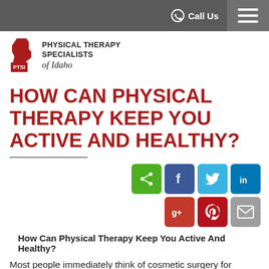Call Us
[Figure (logo): Physical Therapy Specialists of Idaho (PTSI) logo with Idaho state shape in red]
HOW CAN PHYSICAL THERAPY KEEP YOU ACTIVE AND HEALTHY?
[Figure (infographic): Social sharing buttons: share (green), Facebook (blue), Twitter (light blue), LinkedIn (dark blue), Google+ (red), Pinterest (dark red), Email (grey)]
How Can Physical Therapy Keep You Active And Healthy?
Most people immediately think of cosmetic surgery for remaining youthful, active and healthy, but a younger looking visage won't help people stay mobile and active. No one wants to face the effects of aging and physical therapy has